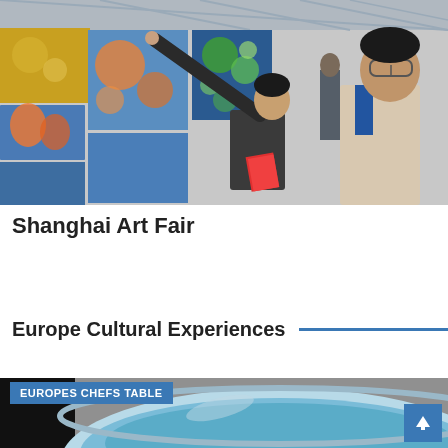[Figure (photo): Two people, a woman reaching out to point at colorful paintings on a wall and a man standing beside her looking up, inside an art gallery or fair with blue and orange artwork on display]
Shanghai Art Fair
Europe Cultural Experiences
[Figure (photo): Close-up of a round blue ceramic or porcelain bowl/dish, partially visible, with label 'EUROPES CHEFS TABLE' overlaid in blue banner and a blue scroll-to-top button in the bottom right corner]